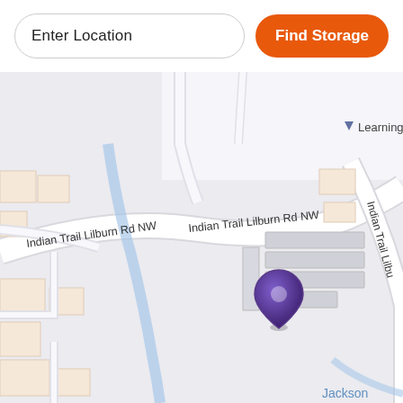Enter Location
Find Storage
[Figure (map): Street map showing Indian Trail Lilburn Rd NW with a purple location pin marker on a storage facility. Map also shows Learning Academy label, a blue water feature, and Jackson street visible at the bottom. Multiple road labels for Indian Trail Lilburn Rd NW appear along a curved road.]